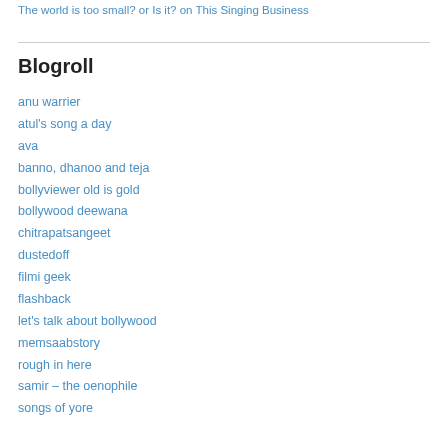The world is too small? or Is it? on This Singing Business
Blogroll
anu warrier
atul's song a day
ava
banno, dhanoo and teja
bollyviewer old is gold
bollywood deewana
chitrapatsangeet
dustedoff
filmi geek
flashback
let's talk about bollywood
memsaabstory
rough in here
samir – the oenophile
songs of yore